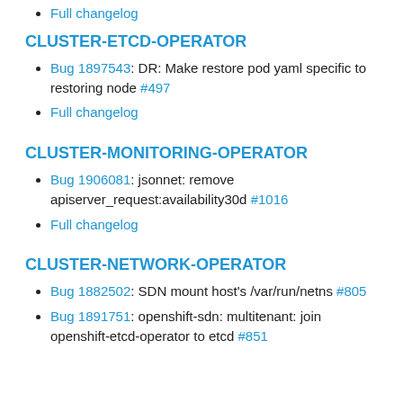Full changelog
CLUSTER-ETCD-OPERATOR
Bug 1897543: DR: Make restore pod yaml specific to restoring node #497
Full changelog
CLUSTER-MONITORING-OPERATOR
Bug 1906081: jsonnet: remove apiserver_request:availability30d #1016
Full changelog
CLUSTER-NETWORK-OPERATOR
Bug 1882502: SDN mount host's /var/run/netns #805
Bug 1891751: openshift-sdn: multitenant: join openshift-etcd-operator to etcd #851